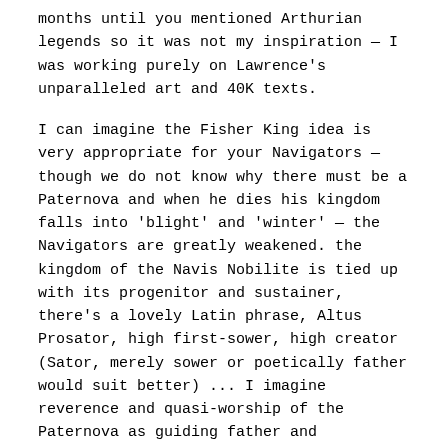months until you mentioned Arthurian legends so it was not my inspiration — I was working purely on Lawrence's unparalleled art and 40K texts.
I can imagine the Fisher King idea is very appropriate for your Navigators — though we do not know why there must be a Paternova and when he dies his kingdom falls into 'blight' and 'winter' — the Navigators are greatly weakened. the kingdom of the Navis Nobilite is tied up with its progenitor and sustainer, there's a lovely Latin phrase, Altus Prosator, high first-sower, high creator (Sator, merely sower or poetically father would suit better) ... I imagine reverence and quasi-worship of the Paternova as guiding father and sustainer... a very patriarchal, clannish